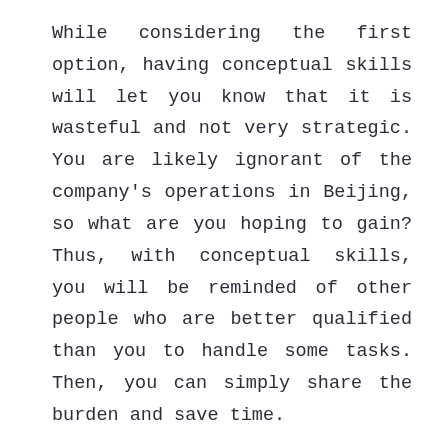While considering the first option, having conceptual skills will let you know that it is wasteful and not very strategic. You are likely ignorant of the company's operations in Beijing, so what are you hoping to gain? Thus, with conceptual skills, you will be reminded of other people who are better qualified than you to handle some tasks. Then, you can simply share the burden and save time.
That example quite simple, so here is a more complex one. Say that you are the manager of Chanel and the lockdown protocol just started. You have been forbidden from